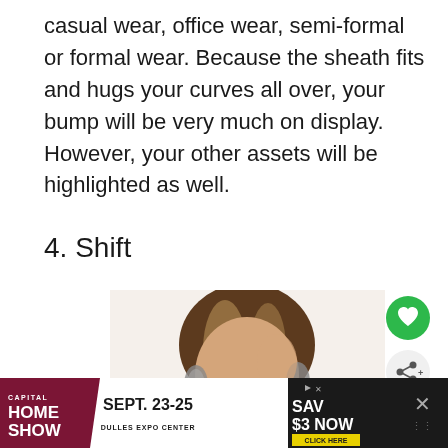casual wear, office wear, semi-formal or formal wear. Because the sheath fits and hugs your curves all over, your bump will be very much on display. However, your other assets will be highlighted as well.
4. Shift
[Figure (photo): A smiling woman with shoulder-length brown hair wearing a dark green ruffled sleeveless dress, holding her hair back with one hand, wearing long earrings.]
[Figure (other): Green circular heart/favorite button icon]
[Figure (other): Light grey circular share button icon]
[Figure (other): Advertisement banner: Capital Home Show, Sept. 23-25, Dulles Expo Center, Save $3 Now, Click Here]